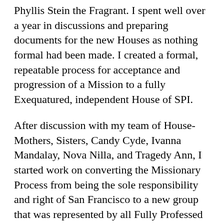Phyllis Stein the Fragrant. I spent well over a year in discussions and preparing documents for the new Houses as nothing formal had been made. I created a formal, repeatable process for acceptance and progression of a Mission to a fully Exequatured, independent House of SPI.
After discussion with my team of House-Mothers, Sisters, Candy Cyde, Ivanna Mandalay, Nova Nilla, and Tragedy Ann, I started work on converting the Missionary Process from being the sole responsibility and right of San Francisco to a new group that was represented by all Fully Professed Houses. The name UNPC or United Nuns Privy Council was chosen because I'd always thought “Privy Council” was a hilarious term ever since watching The Mouse That Roared. Being Un-pc was just a bonus. It was clear from the beginning that as soon as Houses approved the bylaws of the UNPC, I would be stepping back; that under no circumstances would I continue to run or have a hand in the Mission Process. Power and responsibility